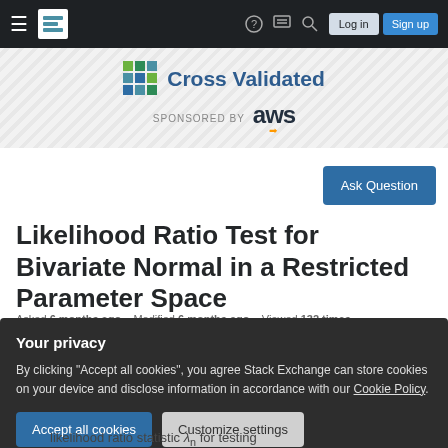Cross Validated — Sponsored by aws
Likelihood Ratio Test for Bivariate Normal in a Restricted Parameter Space
Asked 6 months ago   Modified 6 months ago   Viewed 132 times
Your privacy
By clicking "Accept all cookies", you agree Stack Exchange can store cookies on your device and disclose information in accordance with our Cookie Policy.
likelihood ratio statistic λ_n for testing